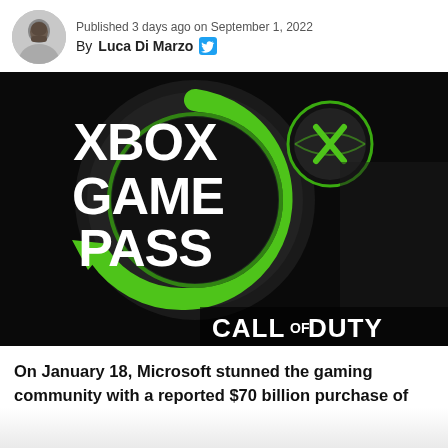Published 3 days ago on September 1, 2022
By Luca Di Marzo
[Figure (photo): Xbox Game Pass illuminated sign with green circular arrow logo and Call of Duty text overlay on dark background]
On January 18, Microsoft stunned the gaming community with a reported $70 billion purchase of